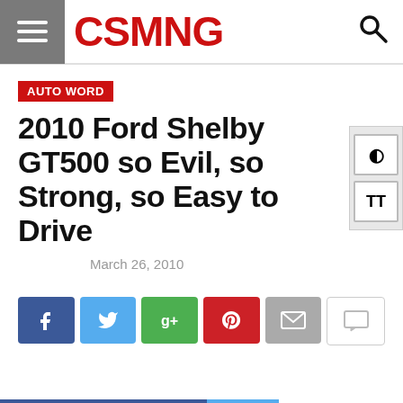CSMNG
AUTO WORD
2010 Ford Shelby GT500 so Evil, so Strong, so Easy to Drive
March 26, 2010